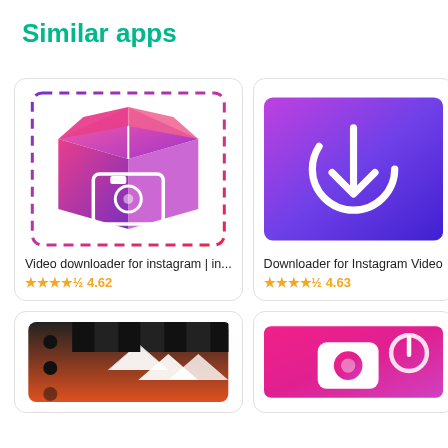Similar apps
[Figure (screenshot): App icon for 'Video downloader for instagram | in...' - a 3D box with Instagram camera logo, pink/purple gradient, with dashed selection border]
Video downloader for instagram | in...
★★★★½ 4.62
[Figure (screenshot): App icon for 'Downloader for Instagram Video' - purple to blue gradient background with white power/download button symbol]
Downloader for Instagram Video
★★★★½ 4.63
[Figure (screenshot): App icon - black film clapperboard with white chevrons on orange background, partially visible]
[Figure (screenshot): App icon - pink/magenta gradient with white camera/film icon, partially visible]